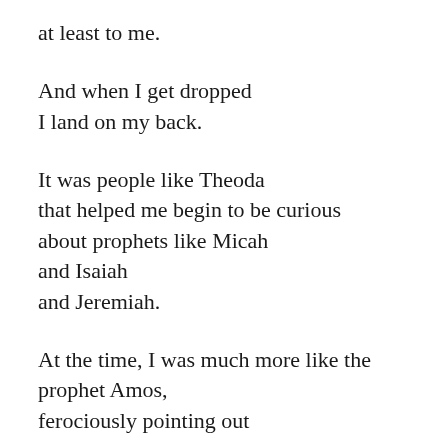at least to me.
And when I get dropped
I land on my back.
It was people like Theoda
that helped me begin to be curious
about prophets like Micah
and Isaiah
and Jeremiah.
At the time, I was much more like the
prophet Amos,
ferociously pointing out